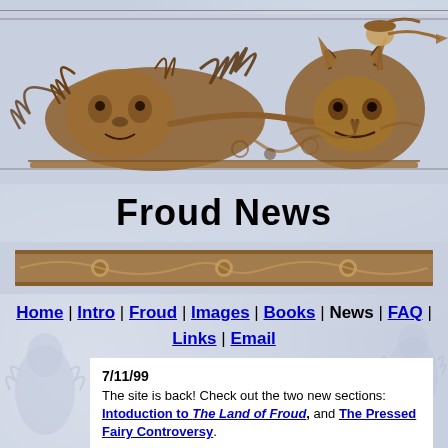[Figure (illustration): Decorative banner with ornate carved wood-style illustration of a wild-haired creature on the left and a horned devil/goblin figure on the right, with scrollwork and ornamental details, brown tones on light blue background]
Froud News
[Figure (illustration): Ornate decorative horizontal bar with scrollwork and skull motifs in brown tones]
Home | Intro | Froud | Images | Books | News | FAQ | Links | Email
7/11/99
The site is back! Check out the two new sections:
Intoduction to The Land of Froud, and The Pressed Fairy Controversy.
10/98